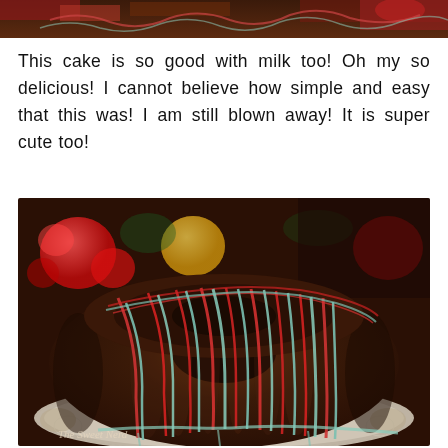[Figure (photo): Partial top edge of a food photo showing dark chocolate cake with red and green/teal frosting drizzle, cropped at top of page]
This cake is so good with milk too! Oh my so delicious! I cannot believe how simple and easy that this was! I am still blown away! It is super cute too!
[Figure (photo): A chocolate bundt cake drizzled with red and mint/teal colored icing, placed on a decorative doily plate, with Christmas ornaments (red and gold balls) visible in the background. A small watermark reading 'The Sweet Nerd' is visible in the bottom left corner.]